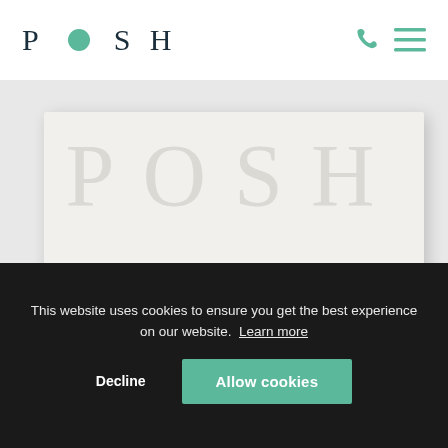[Figure (logo): POSH logo with teal circle replacing the O, and teal phone and hamburger menu icons on the right]
[Figure (screenshot): White card with large light gray POSH watermark text, 'Get a Free Trial' heading in dark teal, and 'Name (required)' label in teal italic text]
This website uses cookies to ensure you get the best experience on our website. Learn more
Decline
Allow cookies